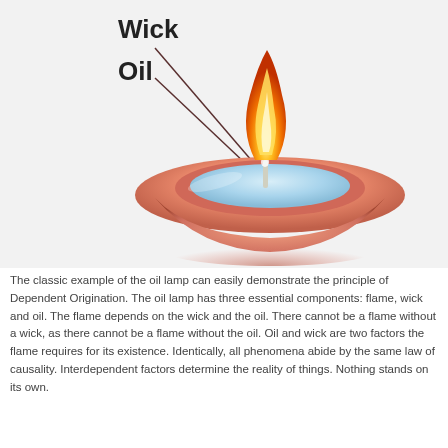[Figure (illustration): An oil lamp illustration showing a bowl-shaped lamp with blue oil, an orange-red flame at the top, and a short wick. Two diagonal lines point from labels 'Wick' and 'Oil' on the left to the respective parts of the lamp.]
The classic example of the oil lamp can easily demonstrate the principle of Dependent Origination. The oil lamp has three essential components: flame, wick and oil. The flame depends on the wick and the oil. There cannot be a flame without a wick, as there cannot be a flame without the oil. Oil and wick are two factors the flame requires for its existence. Identically, all phenomena abide by the same law of causality. Interdependent factors determine the reality of things. Nothing stands on its own.